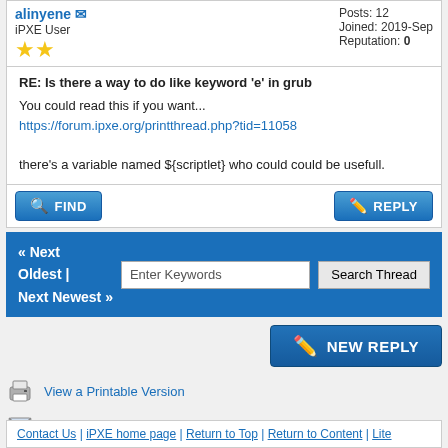alinyene — iPXE User | Posts: 12 | Joined: 2019-Sep | Reputation: 0
RE: Is there a way to do like keyword 'e' in grub
You could read this if you want...
https://forum.ipxe.org/printthread.php?tid=11058

there's a variable named ${scriptlet} who could could be usefull.
FIND | REPLY
« Next Oldest | Next Newest » | Enter Keywords | Search Thread
NEW REPLY
View a Printable Version
Send this Thread to a Friend
Subscribe to this thread
User(s) browsing this thread: 1 Guest(s)
Contact Us | iPXE home page | Return to Top | Return to Content | Lite